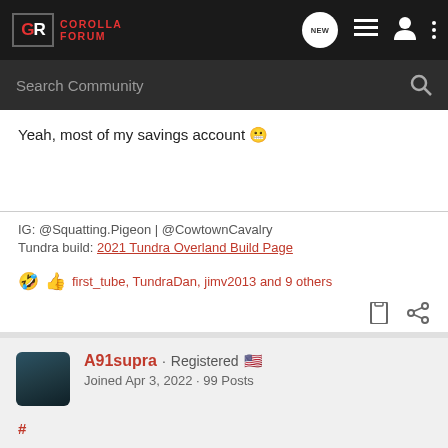GR Corolla Forum
Yeah, most of my savings account 🤭
IG: @Squatting.Pigeon | @CowtownCavalry
Tundra build: 2021 Tundra Overland Build Page
🤣 👍 first_tube, TundraDan, jimv2013 and 9 others
A91supra · Registered 🇺🇸
Joined Apr 3, 2022 · 99 Posts